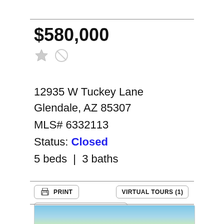$580,000
12935 W Tuckey Lane
Glendale, AZ 85307
MLS# 6332113
Status: Closed
5 beds | 3 baths
PRINT
VIRTUAL TOURS (1)
SCHEDULE A SHOWING
ASK A QUESTION
[Figure (photo): Partial view of a property exterior photo at the bottom of the listing page]